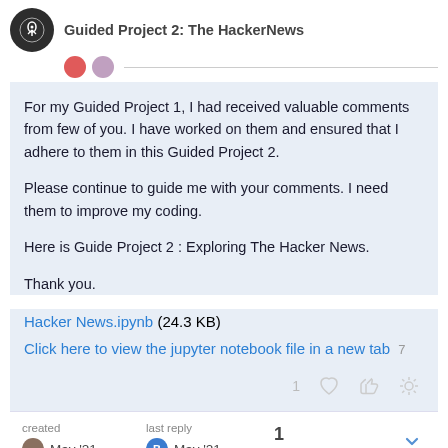Guided Project 2: The HackerNews
For my Guided Project 1, I had received valuable comments from few of you. I have worked on them and ensured that I adhere to them in this Guided Project 2.
Please continue to guide me with your comments. I need them to improve my coding.
Here is Guide Project 2 : Exploring The Hacker News.
Thank you.
Hacker News.ipynb (24.3 KB)
Click here to view the jupyter notebook file in a new tab 7
created May '21   last reply May '21   1 reply